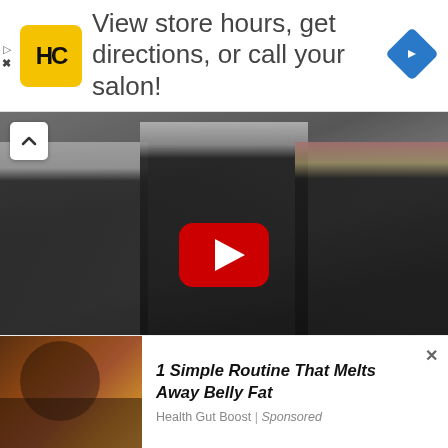[Figure (screenshot): Advertisement banner: HC (Hair Club) logo in yellow square, text 'View store hours, get directions, or call your salon!', blue navigation diamond icon on right, ad controls on left]
[Figure (screenshot): YouTube video thumbnail showing three women in black leather jackets performing/singing, with a red YouTube play button overlay. Up-arrow collapse button in top-left corner.]
The multi-talented actress has a sense of style and taste for fashion that is admired by many. She showcases her
[Figure (screenshot): Native ad unit: image of a person with food on left, text '1 Simple Routine That Melts Away Belly Fat' with source 'Health Gut Boost | Sponsored', close X button on right]